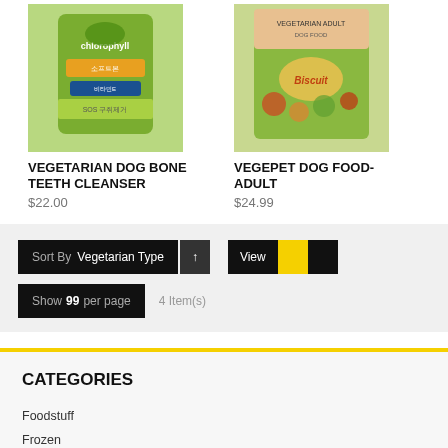[Figure (photo): Product image of Vegetarian Dog Bone Teeth Cleanser in green packaging with chlorophyll]
[Figure (photo): Product image of Vegepet Dog Food Adult in green packaging with fruits and vegetables]
VEGETARIAN DOG BONE TEETH CLEANSER
$22.00
VEGEPET DOG FOOD-ADULT
$24.99
Sort By Vegetarian Type ↑ View
Show 99 per page   4 Item(s)
CATEGORIES
Foodstuff
Frozen